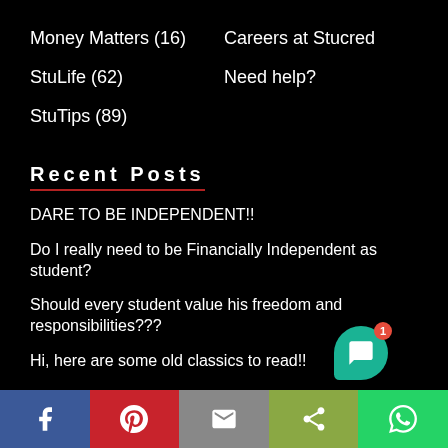Money Matters (16)
Careers at Stucred
StuLife (62)
Need help?
StuTips (89)
Recent Posts
DARE TO BE INDEPENDENT!!
Do I really need to be Financially Independent as student?
Should every student value his freedom and responsibilities???
Hi, here are some old classics to read!!